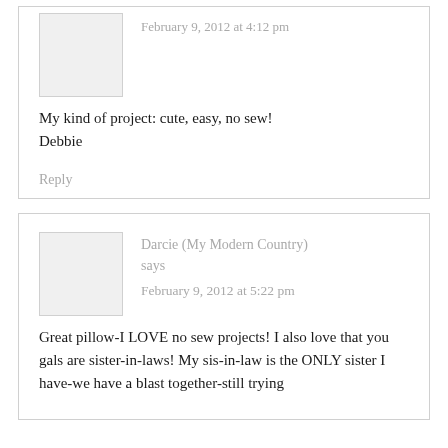My kind of project: cute, easy, no sew! Debbie
Reply
Darcie (My Modern Country) says
February 9, 2012 at 5:22 pm
Great pillow-I LOVE no sew projects! I also love that you gals are sister-in-laws! My sis-in-law is the ONLY sister I have-we have a blast together-still trying